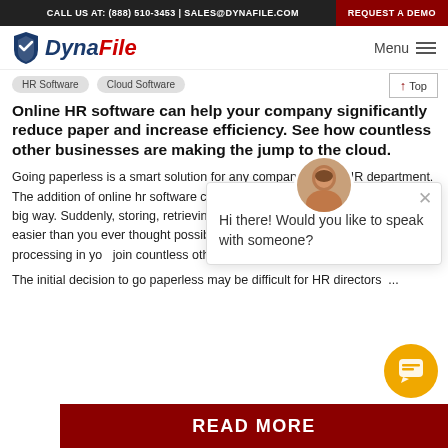CALL US AT: (888) 510-3453 | SALES@DYNAFILE.COM | REQUEST A DEMO
[Figure (logo): DynaFile logo with blue shield icon and italic blue/red text]
HR Software
Cloud Software
Online HR software can help your company significantly reduce paper and increase efficiency. See how countless other businesses are making the jump to the cloud.
Going paperless is a smart solution for any company's busy HR department. The addition of online hr software can help streamline your organization in a big way. Suddenly, storing, retrieving and managing employee files becomes easier than you ever thought possible. If you can automate life document processing in your HR department, you can join countless other businesses that have made the decision to go paperless.
The initial decision to go paperless may be difficult for HR directors ...